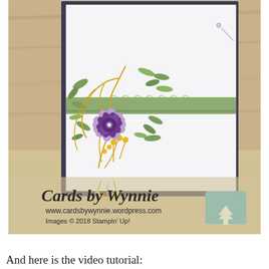[Figure (photo): A handmade greeting card with a purple flower, green leaves, and gold/yellow botanical die-cut elements arranged in the lower-left corner. A green velvet ribbon crosses the card horizontally. The card is white with a dark blue mat, propped on a wooden surface. Watermark reads 'Cards by Wynnie / www.cardsbywynnie.wordpress.com / Images © 2018 Stampin' Up!' with a teal scroll-to-top button in the lower right corner.]
And here is the video tutorial: